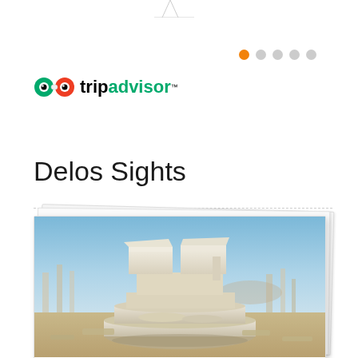[Figure (logo): TripAdvisor logo with owl icon and tripadvisor text in black and green]
Delos Sights
[Figure (photo): Photograph of the Agora of the Kompetaliastae archaeological site on Delos — circular stone base with rectangular marble structure on top, surrounded by ancient ruins and columns under a blue sky]
Agora of the Kompetaliastae